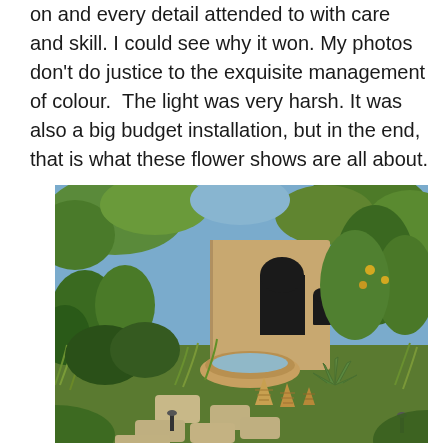The Best in Show was beautifully executed with a lot going on and every detail attended to with care and skill. I could see why it won. My photos don't do justice to the exquisite management of colour.  The light was very harsh. It was also a big budget installation, but in the end, that is what these flower shows are all about.
[Figure (photo): A garden show display featuring a Moroccan-style garden with a sand-coloured rendered wall with a dark arched opening, a circular fountain, lush green planting including trees, shrubs, agave, and grasses, cone-shaped woven baskets on a stone path, and stepping stones. The scene is brightly lit in daylight.]